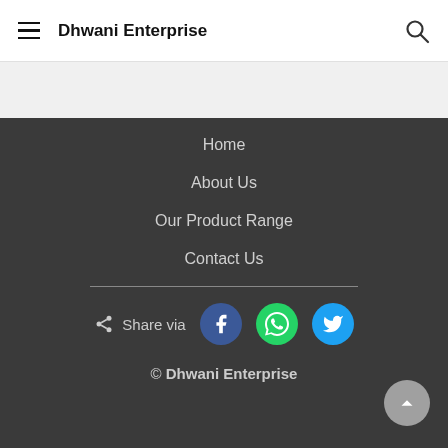Dhwani Enterprise
Home
About Us
Our Product Range
Contact Us
Share via
© Dhwani Enterprise